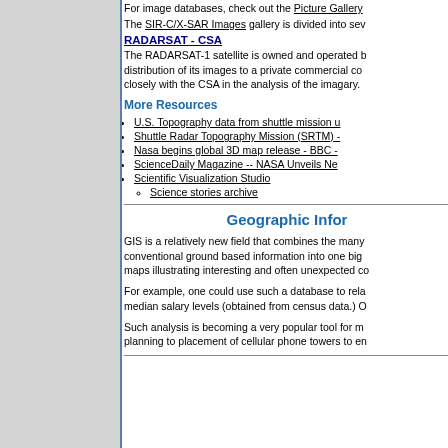For image databases, check out the Picture Gallery.
The SIR-C/X-SAR Images gallery is divided into sev
RADARSAT - CSA
The RADARSAT-1 satellite is owned and operated b... distribution of its images to a private commercial co... closely with the CSA in the analysis of the imagary.
More Resources
U.S. Topography data from shuttle mission u
Shuttle Radar Topography Mission (SRTM) -
Nasa begins global 3D map release - BBC -
ScienceDaily Magazine -- NASA Unveils Ne
Scientific Visualization Studio
Science stories archive
Geographic Infor
GIS is a relatively new field that combines the many conventional ground based information into one big maps illustrating interesting and often unexpected co
For example, one could use such a database to rela median salary levels (obtained from census data.) O
Such analysis is becoming a very popular tool for m planning to placement of cellular phone towers to en